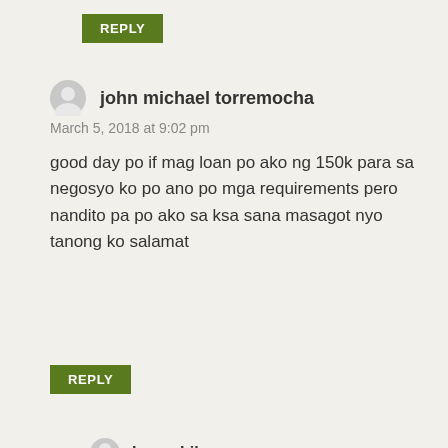REPLY
john michael torremocha
March 5, 2018 at 9:02 pm
good day po if mag loan po ako ng 150k para sa negosyo ko po ano po mga requirements pero nandito pa po ako sa ksa sana masagot nyo tanong ko salamat
REPLY
Larao Libas
July 13, 2018 at 10:55 am
Hello John Michael! Please check this post for complete list of requirements for OWWA Loan.